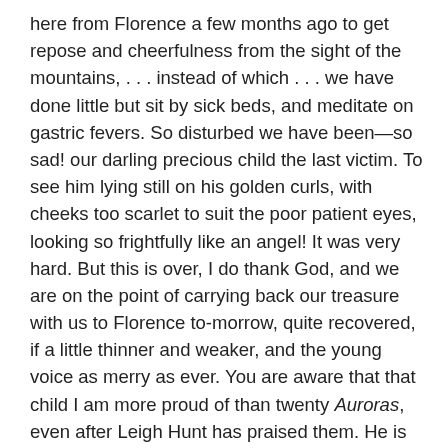here from Florence a few months ago to get repose and cheerfulness from the sight of the mountains, . . . instead of which . . . we have done little but sit by sick beds, and meditate on gastric fevers. So disturbed we have been—so sad! our darling precious child the last victim. To see him lying still on his golden curls, with cheeks too scarlet to suit the poor patient eyes, looking so frightfully like an angel! It was very hard. But this is over, I do thank God, and we are on the point of carrying back our treasure with us to Florence to-morrow, quite recovered, if a little thinner and weaker, and the young voice as merry as ever. You are aware that that child I am more proud of than twenty Auroras, even after Leigh Hunt has praised them. He is eight years old, and has never been 'crammed,' but reads English, Italian, French, German, and plays the piano—then, is the sweetest child! sweeter than he looks. When he was ill he said to me, 'You pet! don't be unhappy about